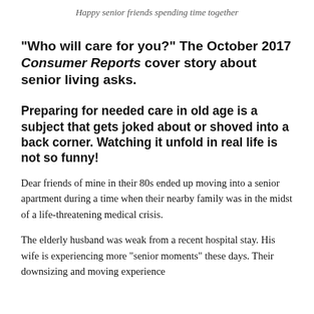Happy senior friends spending time together
“Who will care for you?” The October 2017 Consumer Reports cover story about senior living asks.
Preparing for needed care in old age is a subject that gets joked about or shoved into a back corner.  Watching it unfold in real life is not so funny!
Dear friends of mine in their 80s  ended up moving into a senior apartment during a time when their nearby family was in the midst of a life-threatening medical crisis.
The elderly  husband was weak from a recent hospital stay.  His wife is experiencing more “senior moments” these days.  Their downsizing and moving experience